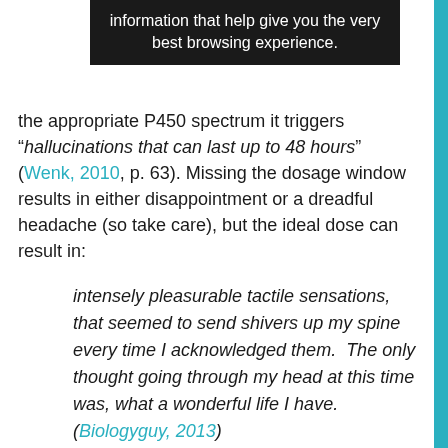information that help give you the very best browsing experience.
the appropriate P450 spectrum it triggers “hallucinations that can last up to 48 hours” (Wenk, 2010, p. 63). Missing the dosage window results in either disappointment or a dreadful headache (so take care), but the ideal dose can result in:
intensely pleasurable tactile sensations, that seemed to send shivers up my spine every time I acknowledged them. The only thought going through my head at this time was, what a wonderful life I have. (Biologyguy, 2013)
This description suggests MDMA, which makes sense given that components include clemisin, eugenol, and safrole (Nowak,